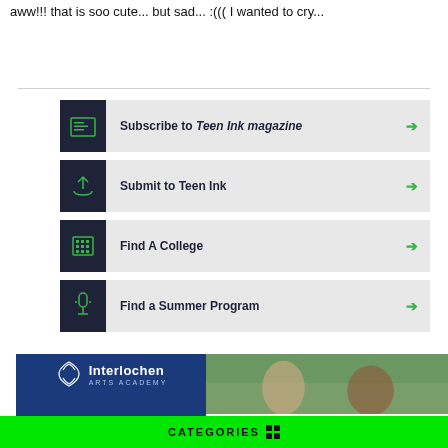aww!!! that is soo cute... but sad... :((( I wanted to cry...
Subscribe to Teen Ink magazine
Submit to Teen Ink
Find A College
Find a Summer Program
[Figure (photo): Interlochen Arts Academy advertisement banner with logo on blue background and photo of students]
CATEGORIES